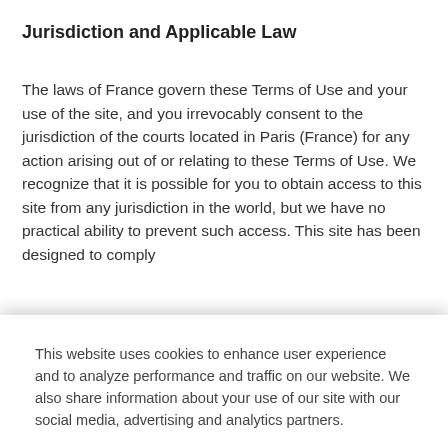Jurisdiction and Applicable Law
The laws of France govern these Terms of Use and your use of the site, and you irrevocably consent to the jurisdiction of the courts located in Paris (France) for any action arising out of or relating to these Terms of Use. We recognize that it is possible for you to obtain access to this site from any jurisdiction in the world, but we have no practical ability to prevent such access. This site has been designed to comply
This website uses cookies to enhance user experience and to analyze performance and traffic on our website. We also share information about your use of our site with our social media, advertising and analytics partners.
Accept Cookies
Reject All
Do Not Sell My Personal